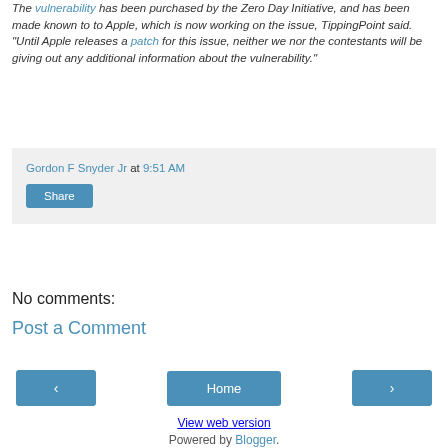The vulnerability has been purchased by the Zero Day Initiative, and has been made known to to Apple, which is now working on the issue, TippingPoint said. "Until Apple releases a patch for this issue, neither we nor the contestants will be giving out any additional information about the vulnerability."
Gordon F Snyder Jr at 9:51 AM
Share
No comments:
Post a Comment
‹ Home › View web version Powered by Blogger.